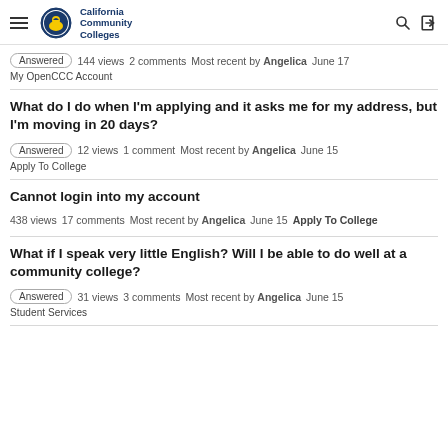California Community Colleges
Answered  144 views  2 comments  Most recent by Angelica  June 17
My OpenCCC Account
What do I do when I'm applying and it asks me for my address, but I'm moving in 20 days?
Answered  12 views  1 comment  Most recent by Angelica  June 15
Apply To College
Cannot login into my account
438 views  17 comments  Most recent by Angelica  June 15  Apply To College
What if I speak very little English? Will I be able to do well at a community college?
Answered  31 views  3 comments  Most recent by Angelica  June 15
Student Services